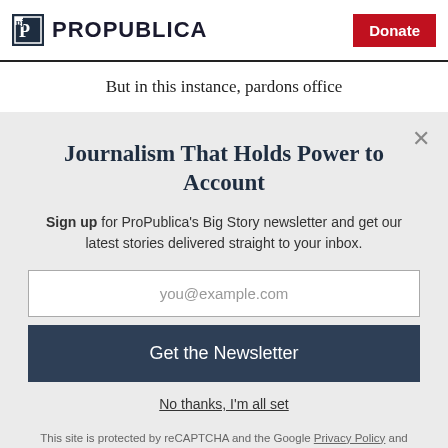ProPublica | Donate
But in this instance, pardons office
Journalism That Holds Power to Account
Sign up for ProPublica's Big Story newsletter and get our latest stories delivered straight to your inbox.
you@example.com
Get the Newsletter
No thanks, I'm all set
This site is protected by reCAPTCHA and the Google Privacy Policy and Terms of Service apply.